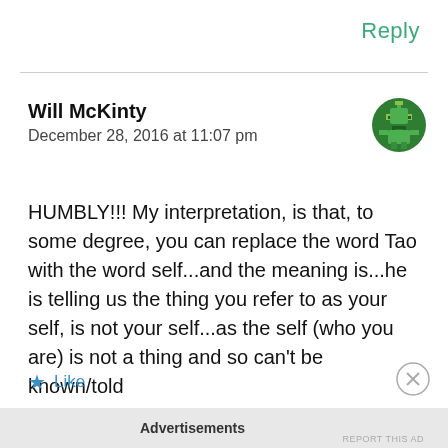Reply
Will McKinty
December 28, 2016 at 11:07 pm
[Figure (illustration): Green pixel-art alien/robot avatar icon on dark green circular background]
HUMBLY!!! My interpretation, is that, to some degree, you can replace the word Tao with the word self...and the meaning is...he is telling us the thing you refer to as your self, is not your self...as the self (who you are) is not a thing and so can't be known/told
Like
Advertisements
REPORT THIS AD